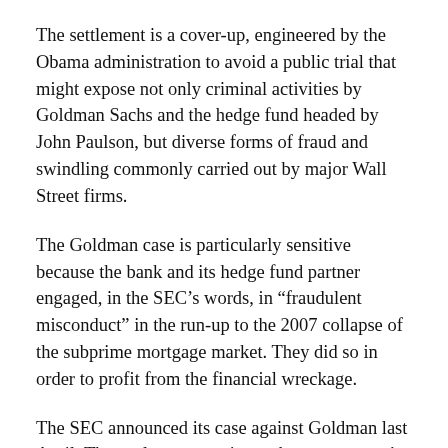The settlement is a cover-up, engineered by the Obama administration to avoid a public trial that might expose not only criminal activities by Goldman Sachs and the hedge fund headed by John Paulson, but diverse forms of fraud and swindling commonly carried out by major Wall Street firms.
The Goldman case is particularly sensitive because the bank and its hedge fund partner engaged, in the SEC’s words, in “fraudulent misconduct” in the run-up to the 2007 collapse of the subprime mortgage market. They did so in order to profit from the financial wreckage.
The SEC announced its case against Goldman last April. The settlement continues the government’s policy of refusing to hold Wall Street executives accountable for the financial and social disaster caused by their actions. The SEC’s indictment—which was civil and not criminal—did not name a single top executive of Goldman. Nor did it